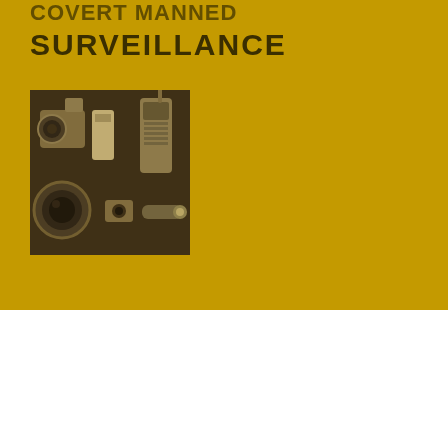SURVEILLANCE
[Figure (photo): A sepia-toned photograph of surveillance equipment laid out in a case, including cameras, lenses, a walkie-talkie/radio, and other accessories.]
Please send us a message with any questions you may have or for a quote for your enquiry